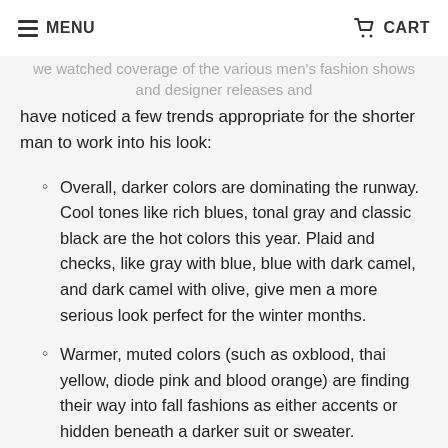MENU | CART
have noticed a few trends appropriate for the shorter man to work into his look:
Overall, darker colors are dominating the runway. Cool tones like rich blues, tonal gray and classic black are the hot colors this year. Plaid and checks, like gray with blue, blue with dark camel, and dark camel with olive, give men a more serious look perfect for the winter months.
Warmer, muted colors (such as oxblood, thai yellow, diode pink and blood orange) are finding their way into fall fashions as either accents or hidden beneath a darker suit or sweater.